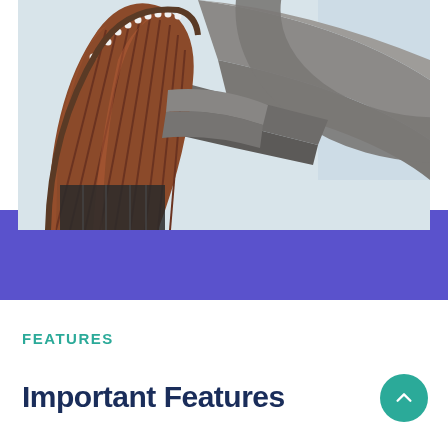[Figure (photo): Looking up at a curved architectural structure — a spiral staircase or cylindrical building element with terracotta/brown wooden slats on the left and a sweeping concrete arch/overhang curving to the right, photographed from below against a light sky background.]
FEATURES
Important Features